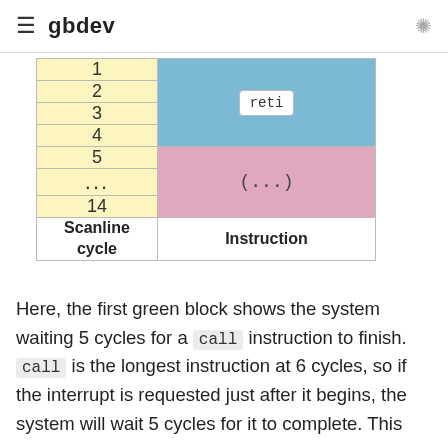gbdev
| Scanline cycle | Instruction |
| --- | --- |
| 1 | reti (spans rows 1-4) |
| 2 |  |
| 3 |  |
| 4 |  |
| 5 | (...) (spans rows 5-14) |
| ... |  |
| 14 |  |
Here, the first green block shows the system waiting 5 cycles for a call instruction to finish. call is the longest instruction at 6 cycles, so if the interrupt is requested just after it begins, the system will wait 5 cycles for it to complete. This